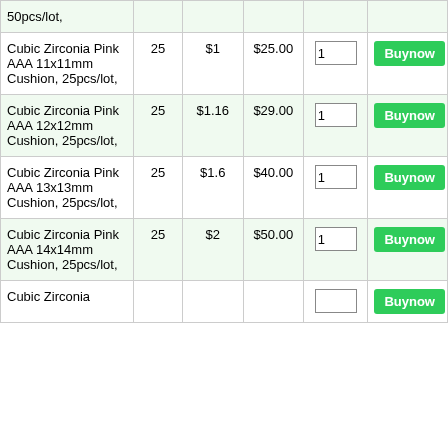| Product | Qty | Price | Total | Amount | Action |
| --- | --- | --- | --- | --- | --- |
| 50pcs/lot, |  |  |  |  |  |
| Cubic Zirconia Pink AAA 11x11mm Cushion, 25pcs/lot, | 25 | $1 | $25.00 | 1 | Buynow |
| Cubic Zirconia Pink AAA 12x12mm Cushion, 25pcs/lot, | 25 | $1.16 | $29.00 | 1 | Buynow |
| Cubic Zirconia Pink AAA 13x13mm Cushion, 25pcs/lot, | 25 | $1.6 | $40.00 | 1 | Buynow |
| Cubic Zirconia Pink AAA 14x14mm Cushion, 25pcs/lot, | 25 | $2 | $50.00 | 1 | Buynow |
| Cubic Zirconia... | 25 | $2.4 | $60.00 | 1 | Buynow |